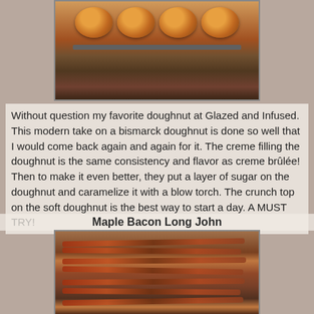[Figure (photo): Photo of glazed creme brûlée doughnuts on a baking tray, showing round golden-brown doughnuts with caramelized sugar tops]
Without question my favorite doughnut at Glazed and Infused.  This modern take on a bismarck doughnut is done so well that I would come back again and again for it.  The creme filling the doughnut is the same consistency and flavor as creme brûlée!  Then to make it even better, they put a layer of sugar on the doughnut and caramelize it with a blow torch.  The crunch top on the soft doughnut is the best way to start a day.  A MUST TRY!
Maple Bacon Long John
[Figure (photo): Photo of maple bacon long john doughnuts on a tray — rectangular doughnuts topped with strips of bacon and maple glaze]